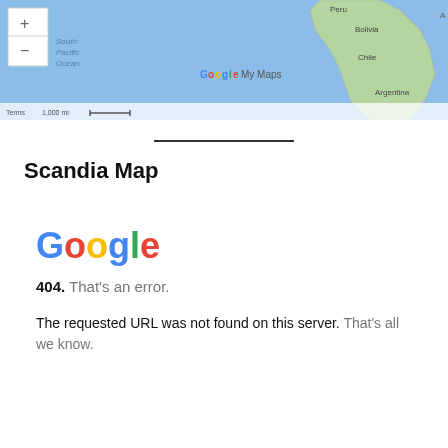[Figure (map): Google My Maps screenshot showing South America with South Pacific Ocean label, Bolivia, Chile, Peru, Argentina. Map controls with + and - buttons. Scale bar showing 1,000 mi. Google My Maps watermark.]
Scandia Map
[Figure (screenshot): Google 404 error page. Large Google logo, '404. That's an error.' message, and 'The requested URL was not found on this server. That's all we know.']
404. That's an error.
The requested URL was not found on this server. That's all we know.